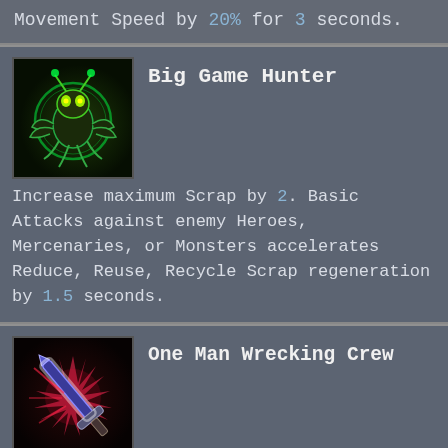Movement Speed by 20% for 3 seconds.
Big Game Hunter
[Figure (illustration): Big Game Hunter ability icon: green glowing insectoid creature on dark background]
Increase maximum Scrap by 2. Basic Attacks against enemy Heroes, Mercenaries, or Monsters accelerates Reduce, Reuse, Recycle Scrap regeneration by 1.5 seconds.
One Man Wrecking Crew
[Figure (illustration): One Man Wrecking Crew ability icon: glowing sword with red explosion effect on dark background]
Casting Basic Abilities cause Gazlowe's next Basic Attack within 6 seconds to deal 60% more damage. Stores up to 2 charges.